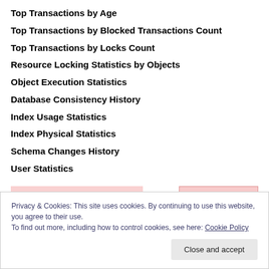Top Transactions by Age
Top Transactions by Blocked Transactions Count
Top Transactions by Locks Count
Resource Locking Statistics by Objects
Object Execution Statistics
Database Consistency History
Index Usage Statistics
Index Physical Statistics
Schema Changes History
User Statistics
Privacy & Cookies: This site uses cookies. By continuing to use this website, you agree to their use.
To find out more, including how to control cookies, see here: Cookie Policy